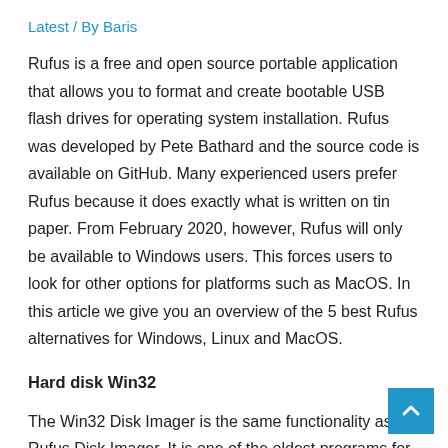Latest / By Baris
Rufus is a free and open source portable application that allows you to format and create bootable USB flash drives for operating system installation. Rufus was developed by Pete Bathard and the source code is available on GitHub. Many experienced users prefer Rufus because it does exactly what is written on tin paper. From February 2020, however, Rufus will only be available to Windows users. This forces users to look for other options for platforms such as MacOS. In this article we give you an overview of the 5 best Rufus alternatives for Windows, Linux and MacOS.
Hard disk Win32
The Win32 Disk Imager is the same functionality as the Rufus Disk Imager. It is one of the oldest programs for low-level firmware such as Raspbian and ARM operating systems, SD cards and USB drives. It is a very powerful software with a clean user interface. But if you're a beginner it can be a bit difficult to get started if